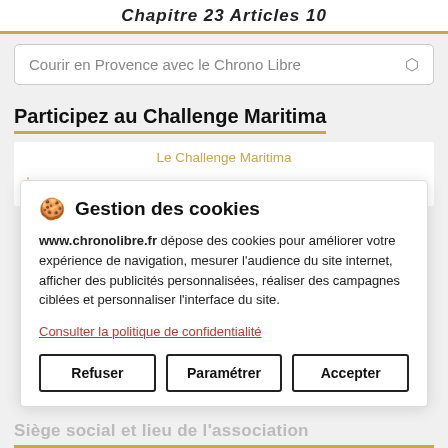Chapitre 23 Articles 10
Courir en Provence avec le Chrono Libre
Participez au Challenge Maritima
Le Challenge Maritima, C'est 23 courses pédestres situées entre étangs, mer et collines,
🍪 Gestion des cookies
www.chronolibre.fr dépose des cookies pour améliorer votre expérience de navigation, mesurer l'audience du site internet, afficher des publicités personnalisées, réaliser des campagnes ciblées et personnaliser l'interface du site.
Consulter la politique de confidentialité
Refuser
Paramétrer
Accepter
Siège social et lieu de l'association